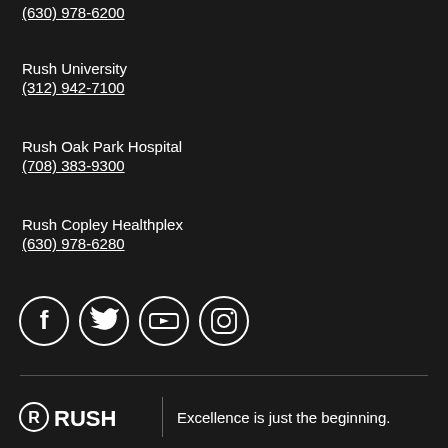(630) 978-6200
Rush University
(312) 942-7100
Rush Oak Park Hospital
(708) 383-9300
Rush Copley Healthplex
(630) 978-6280
[Figure (infographic): Social media icons: Facebook, Twitter, YouTube, Instagram — white outlined circles on dark background]
[Figure (logo): RUSH logo with stylized R icon and tagline: Excellence is just the beginning.]